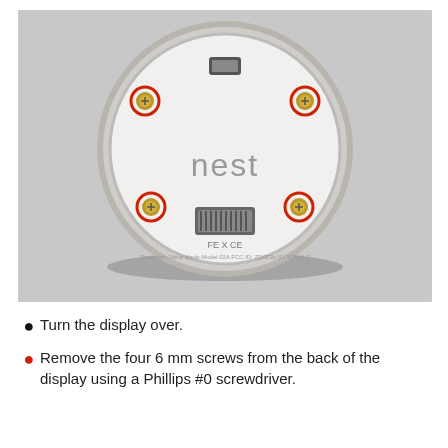[Figure (photo): Bottom view of a Nest thermostat display unit showing four red-circled gold Phillips screws, a mini-USB port at top center, a ribbon cable connector at bottom center, the 'nest' logo in gray, and regulatory markings including FCC, CE logos. The device has a circular silver/chrome outer ring with a white inner face.]
Turn the display over.
Remove the four 6 mm screws from the back of the display using a Phillips #0 screwdriver.